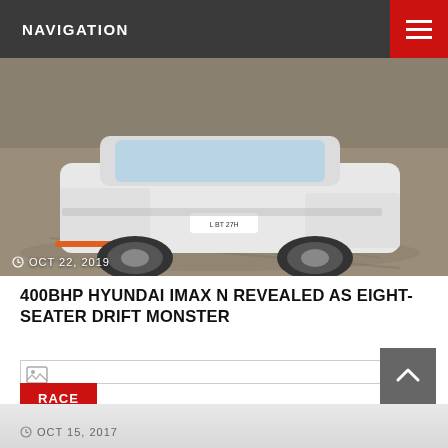NAVIGATION
[Figure (photo): White Hyundai performance car on a race track, rear view, with orange front lip spoiler. Date overlay OCT 22, 2019.]
400BHP HYUNDAI IMAX N REVEALED AS EIGHT-SEATER DRIFT MONSTER
[Figure (photo): Second article card with broken image icon and RACE badge]
RACE
OCT 15, 2017